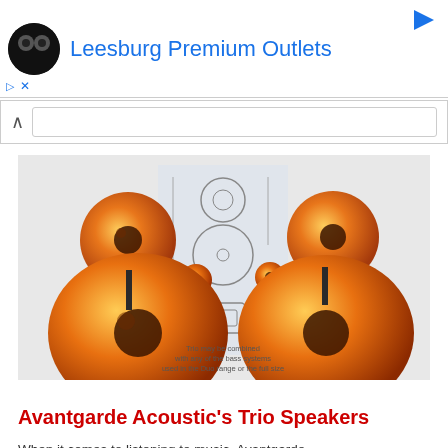Leesburg Premium Outlets
[Figure (photo): Product photo of Avantgarde Acoustic Trio Speakers - two large orange spherical horn speakers on stands with engineering schematic diagram in the center background]
Avantgarde Acoustic's Trio Speakers
When it comes to listening to music, Avantgarde